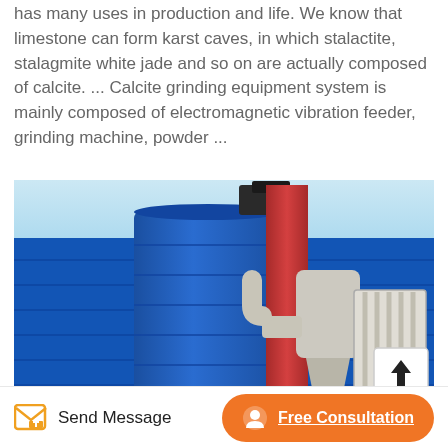has many uses in production and life. We know that limestone can form karst caves, in which stalactite, stalagmite white jade and so on are actually composed of calcite. ... Calcite grinding equipment system is mainly composed of electromagnetic vibration feeder, grinding machine, powder ...
[Figure (photo): Industrial calcite grinding equipment system showing a large blue cylindrical silo, red vertical pipe column, white/grey cyclone dust collector with pipes, and a white rectangular filter unit, all in front of a blue corrugated fence/wall background.]
Send Message
Free Consultation